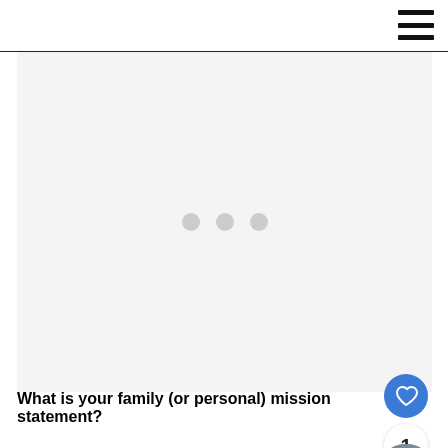[Figure (illustration): Large light gray placeholder image area with three gray dots in the center indicating a loading state. A blue circular like button with a heart icon, a white circular button showing the number 1, and a white circular share button are overlaid on the right side. A small circular thumbnail photo is partially visible at the bottom right.]
What is your family (or personal) mission statement?